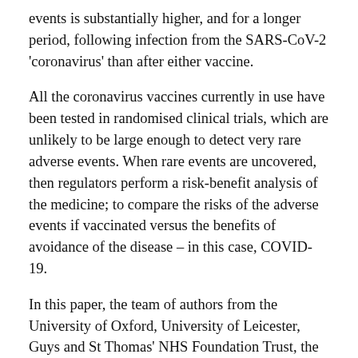events is substantially higher, and for a longer period, following infection from the SARS-CoV-2 'coronavirus' than after either vaccine.
All the coronavirus vaccines currently in use have been tested in randomised clinical trials, which are unlikely to be large enough to detect very rare adverse events. When rare events are uncovered, then regulators perform a risk-benefit analysis of the medicine; to compare the risks of the adverse events if vaccinated versus the benefits of avoidance of the disease – in this case, COVID-19.
In this paper, the team of authors from the University of Oxford, University of Leicester, Guys and St Thomas' NHS Foundation Trust, the Intensive Care National Audit & Research Centre, the London School of Hygiene and Tropical Medicine, the University of Cambridge, the University of Edinburgh and the